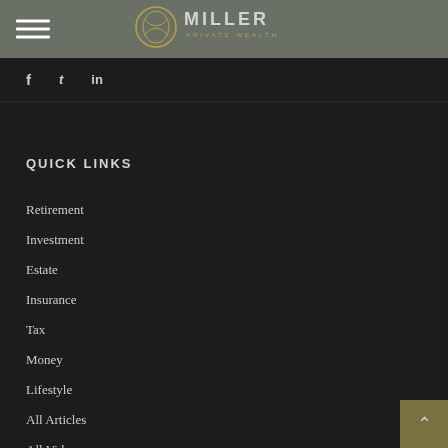Miller Private Wealth
[Figure (logo): Miller Private Wealth logo with circular emblem and MILLER PRIVATE WEALTH text]
f  t  in
QUICK LINKS
Retirement
Investment
Estate
Insurance
Tax
Money
Lifestyle
All Articles
All Videos